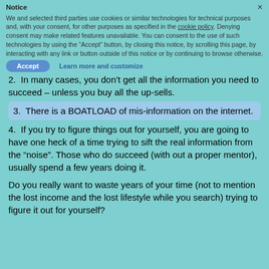There are some things that most “coaches” or “gurus” won’t tell you:
1. In most cases, the person trying to teach you is a rookie, who has no idea what he or she is doing. In some other cases, the techniques they want to teach you are outdated.
2. In many cases, you don’t get all the information you need to succeed – unless you buy all the up-sells.
3. There is a BOATLOAD of mis-information on the internet.
4. If you try to figure things out for yourself, you are going to have one heck of a time trying to sift the real information from the “noise”. Those who do succeed (with out a proper mentor), usually spend a few years doing it.
Do you really want to waste years of your time (not to mention the lost income and the lost lifestyle while you search) trying to figure it out for yourself?
Notice
We and selected third parties use cookies or similar technologies for technical purposes and, with your consent, for other purposes as specified in the cookie policy. Denying consent may make related features unavailable. You can consent to the use of such technologies by using the “Accept” button, by closing this notice, by scrolling this page, by interacting with any link or button outside of this notice or by continuing to browse otherwise.
Accept
Learn more and customize